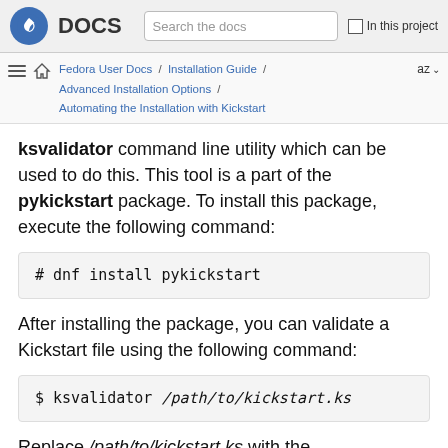DOCS | Search the docs | In this project
Fedora User Docs / Installation Guide / Advanced Installation Options / Automating the Installation with Kickstart | az
ksvalidator command line utility which can be used to do this. This tool is a part of the pykickstart package. To install this package, execute the following command:
# dnf install pykickstart
After installing the package, you can validate a Kickstart file using the following command:
$ ksvalidator /path/to/kickstart.ks
Replace /path/to/kickstart.ks with the